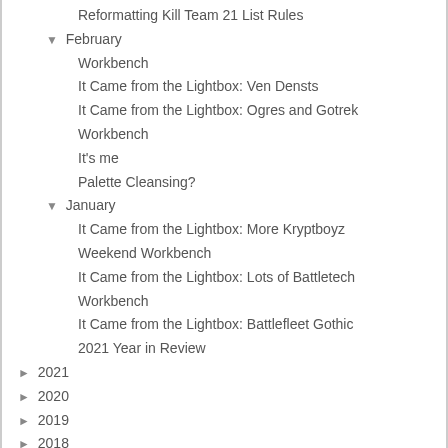Reformatting Kill Team 21 List Rules
▼ February
Workbench
It Came from the Lightbox: Ven Densts
It Came from the Lightbox: Ogres and Gotrek
Workbench
It's me
Palette Cleansing?
▼ January
It Came from the Lightbox: More Kryptboyz
Weekend Workbench
It Came from the Lightbox: Lots of Battletech
Workbench
It Came from the Lightbox: Battlefleet Gothic
2021 Year in Review
► 2021
► 2020
► 2019
► 2018